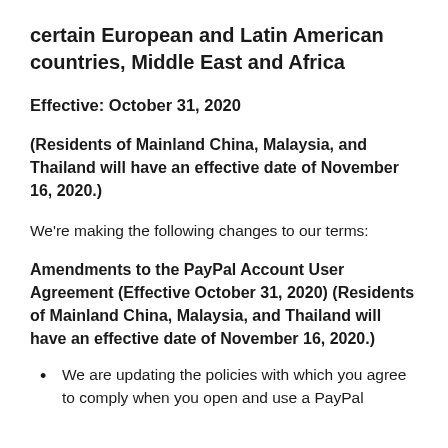certain European and Latin American countries, Middle East and Africa
Effective: October 31, 2020
(Residents of Mainland China, Malaysia, and Thailand will have an effective date of November 16, 2020.)
We're making the following changes to our terms:
Amendments to the PayPal Account User Agreement (Effective October 31, 2020) (Residents of Mainland China, Malaysia, and Thailand will have an effective date of November 16, 2020.)
We are updating the policies with which you agree to comply when you open and use a PayPal...